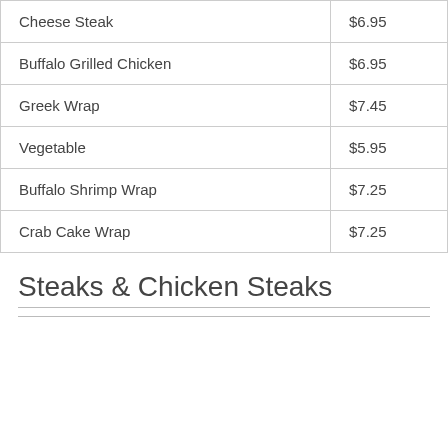| Item | Price |
| --- | --- |
| Cheese Steak | $6.95 |
| Buffalo Grilled Chicken | $6.95 |
| Greek Wrap | $7.45 |
| Vegetable | $5.95 |
| Buffalo Shrimp Wrap | $7.25 |
| Crab Cake Wrap | $7.25 |
Steaks & Chicken Steaks